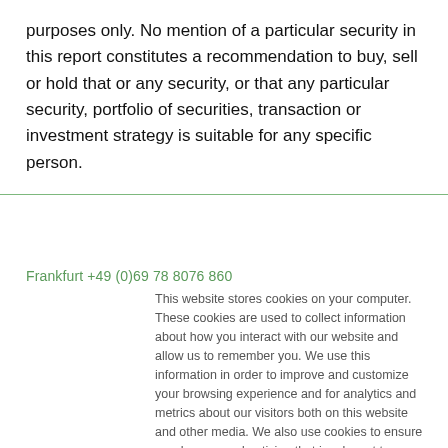purposes only. No mention of a particular security in this report constitutes a recommendation to buy, sell or hold that or any security, or that any particular security, portfolio of securities, transaction or investment strategy is suitable for any specific person.
Frankfurt +49 (0)69 78 8076 860
This website stores cookies on your computer. These cookies are used to collect information about how you interact with our website and allow us to remember you. We use this information in order to improve and customize your browsing experience and for analytics and metrics about our visitors both on this website and other media. We also use cookies to ensure we show you advertising that is relevant to you. To find out more about the cookies we use, see our Privacy Policy.
If you decline, your information won't be tracked when you visit this website. A single cookie will be used in your browser to remember your preference not to be tracked.